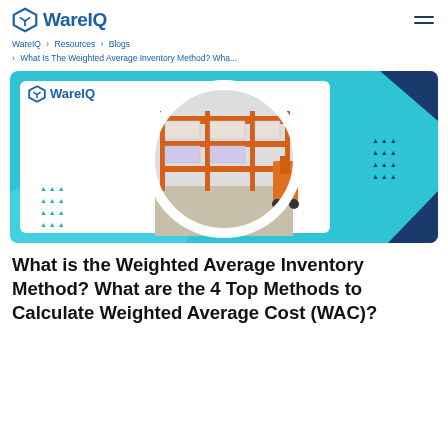WareIQ
WareIQ > Resources > Blogs > What Is The Weighted Average Inventory Method? Wha...
[Figure (photo): WareIQ branded hero image with a circular photo of a warehouse interior showing stacked boxes on orange shelving racks with a forklift, on a teal/blue decorative background with triangle dot patterns]
What is the Weighted Average Inventory Method? What are the 4 Top Methods to Calculate Weighted Average Cost (WAC)?